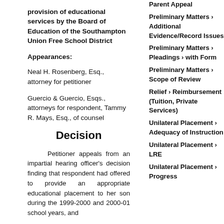provision of educational services by the Board of Education of the Southampton Union Free School District
Appearances:
Neal H. Rosenberg, Esq., attorney for petitioner

Guercio & Guercio, Esqs., attorneys for respondent, Tammy R. Mays, Esq., of counsel
Decision
Petitioner appeals from an impartial hearing officer's decision finding that respondent had offered to provide an appropriate educational placement to her son during the 1999-2000 and 2000-01 school years, and
Parent Appeal
Preliminary Matters › Additional Evidence/Record Issues
Preliminary Matters › Pleadings › with Form
Preliminary Matters › Scope of Review
Relief › Reimbursement (Tuition, Private Services)
Unilateral Placement › Adequacy of Instruction
Unilateral Placement › LRE
Unilateral Placement › Progress